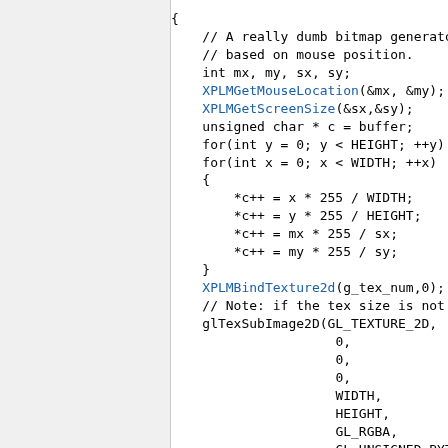{ // A really dumb bitmap generator // based on mouse position. int mx, my, sx, sy; XPLMGetMouseLocation(&mx, &my); XPLMGetScreenSize(&sx,&sy); unsigned char * c = buffer; for(int y = 0; y < HEIGHT; ++y) for(int x = 0; x < WIDTH; ++x) { *c++ = x * 255 / WIDTH; *c++ = y * 255 / HEIGHT; *c++ = mx * 255 / sx; *c++ = my * 255 / sy; } XPLMBindTexture2d(g_tex_num,0); // Note: if the tex size is not glTexSubImage2D(GL_TEXTURE_2D, 0, 0, 0, WIDTH, HEIGHT, GL_RGBA, GL_UNSIGNED_BYTE, buffer); // The drawing part. XPLMSetGraphicsState(